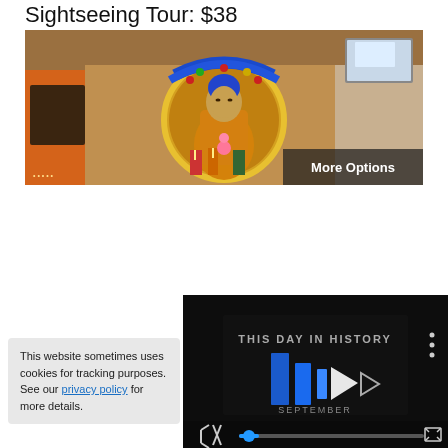Sightseeing Tour: $38
[Figure (photo): A golden Buddha statue with ornate decorative backdrop in orange and gold tones, with a 'More Options' overlay button at the bottom right]
[Figure (screenshot): A video player with dark background showing 'THIS DAY IN HISTORY' title with blue arrow/play logo, mute button, progress bar, and fullscreen button]
This website sometimes uses cookies for tracking purposes. See our privacy policy for more details.